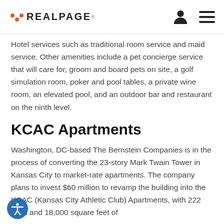REALPAGE
Hotel services such as traditional room service and maid service. Other amenities include a pet concierge service that will care for, groom and board pets on site, a golf simulation room, poker and pool tables, a private wine room, an elevated pool, and an outdoor bar and restaurant on the ninth level.
KCAC Apartments
Washington, DC-based The Bernstein Companies is in the process of converting the 23-story Mark Twain Tower in Kansas City to market-rate apartments. The company plans to invest $60 million to revamp the building into the KCAC (Kansas City Athletic Club) Apartments, with 222 units and 18,000 square feet of